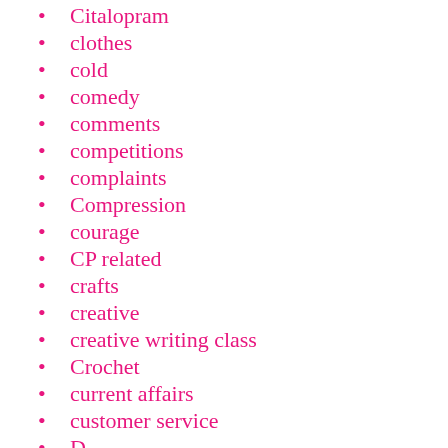Citalopram
clothes
cold
comedy
comments
competitions
complaints
Compression
courage
CP related
crafts
creative
creative writing class
Crochet
current affairs
customer service
D...